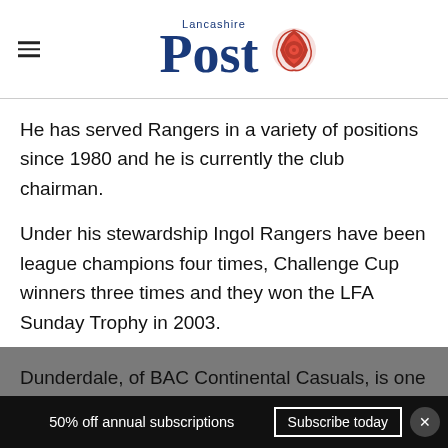[Figure (logo): Lancashire Post logo with red rose emblem and 'Lancashire' text above 'Post' in blue serif font]
He has served Rangers in a variety of positions since 1980 and he is currently the club chairman.
Under his stewardship Ingol Rangers have been league champions four times, Challenge Cup winners three times and they won the LFA Sunday Trophy in 2003.
Dunderdale, of BAC Continental Casuals, is one
50% off annual subscriptions  Subscribe today